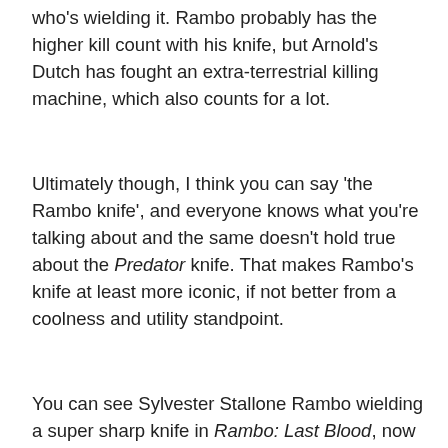who's wielding it. Rambo probably has the higher kill count with his knife, but Arnold's Dutch has fought an extra-terrestrial killing machine, which also counts for a lot.
Ultimately though, I think you can say 'the Rambo knife', and everyone knows what you're talking about and the same doesn't hold true about the Predator knife. That makes Rambo's knife at least more iconic, if not better from a coolness and utility standpoint.
You can see Sylvester Stallone Rambo wielding a super sharp knife in Rambo: Last Blood, now playing. Arnold Schwarzenegger trades in a big knife for really big guns in Terminator: Dark Fate, in theaters on November 1. Check out our 2019 Release Schedule to see what other movies you can look forward to this fall and let us know what knife you prefer in the poll below.